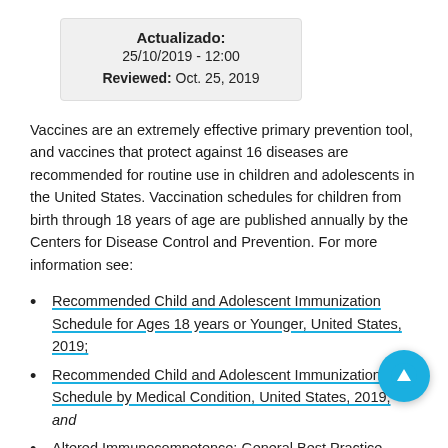Actualizado:
25/10/2019 - 12:00
Reviewed: Oct. 25, 2019
Vaccines are an extremely effective primary prevention tool, and vaccines that protect against 16 diseases are recommended for routine use in children and adolescents in the United States. Vaccination schedules for children from birth through 18 years of age are published annually by the Centers for Disease Control and Prevention. For more information see:
Recommended Child and Adolescent Immunization Schedule for Ages 18 years or Younger, United States, 2019;
Recommended Child and Adolescent Immunization Schedule by Medical Condition, United States, 2019; and
Altered Immunocompetence: General Best Practice Guidelines for Immunization: Best Practices Guidance of the Advisory Committee on Immunization Practices
They should be assessed for more complex immunization-specific